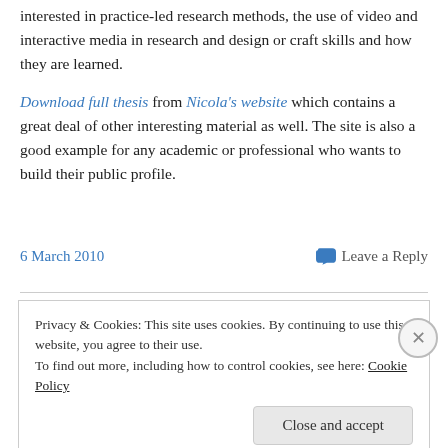interested in practice-led research methods, the use of video and interactive media in research and design or craft skills and how they are learned.
Download full thesis from Nicola's website which contains a great deal of other interesting material as well. The site is also a good example for any academic or professional who wants to build their public profile.
6 March 2010
Leave a Reply
Privacy & Cookies: This site uses cookies. By continuing to use this website, you agree to their use.
To find out more, including how to control cookies, see here: Cookie Policy